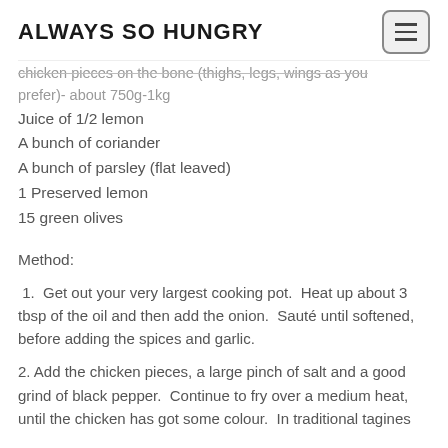ALWAYS SO HUNGRY
chicken pieces on the bone (thighs, legs, wings as you prefer)- about 750g-1kg
Juice of 1/2 lemon
A bunch of coriander
A bunch of parsley (flat leaved)
1 Preserved lemon
15 green olives
Method:
1.  Get out your very largest cooking pot.  Heat up about 3 tbsp of the oil and then add the onion.  Sauté until softened, before adding the spices and garlic.
2. Add the chicken pieces, a large pinch of salt and a good grind of black pepper.  Continue to fry over a medium heat, until the chicken has got some colour.  In traditional tagines